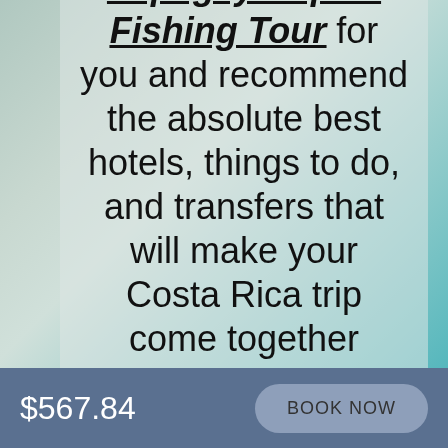[Figure (photo): Background photo of a beach/ocean scene with light teal water and sand, with a semi-transparent light overlay panel on the right portion.]
we'll check on Papagayo Sport Fishing Tour for you and recommend the absolute best hotels, things to do, and transfers that will make your Costa Rica trip come together perfectly. No credit card is required.
$567.84
BOOK NOW